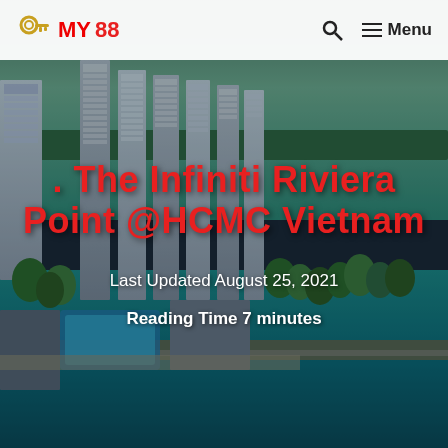MY 88 | Menu
[Figure (photo): Aerial view of luxury high-rise apartment buildings along a riverfront in Ho Chi Minh City, Vietnam, with lush greenery and blue water]
. The Infiniti Riviera Point @HCMC Vietnam
Last Updated August 25, 2021
Reading Time 7 minutes